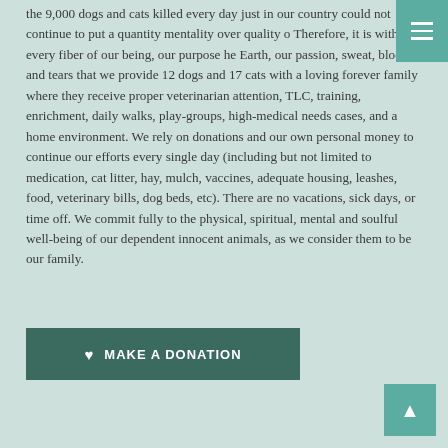the 9,000 dogs and cats killed every day just in our country could not continue to put a quantity mentality over quality o Therefore, it is with every fiber of our being, our purpose he Earth, our passion, sweat, blood and tears that we provide 12 dogs and 17 cats with a loving forever family where they receive proper veterinarian attention, TLC, training, enrichment, daily walks, play-groups, high-medical needs cases, and a home environment. We rely on donations and our own personal money to continue our efforts every single day (including but not limited to medication, cat litter, hay, mulch, vaccines, adequate housing, leashes, food, veterinary bills, dog beds, etc). There are no vacations, sick days, or time off. We commit fully to the physical, spiritual, mental and soulful well-being of our dependent innocent animals, as we consider them to be our family.
MAKE A DONATION